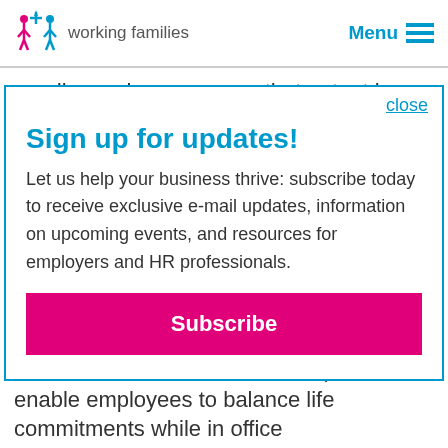working families  Menu
sending a clear message that output is valued
close
Sign up for updates!
Let us help your business thrive: subscribe today to receive exclusive e-mail updates, information on upcoming events, and resources for employers and HR professionals.
Subscribe
of service) or enjoy summer hours (flexitime/time in lieu for some lines of business in the summer months). To enable employees to balance life commitments while in office